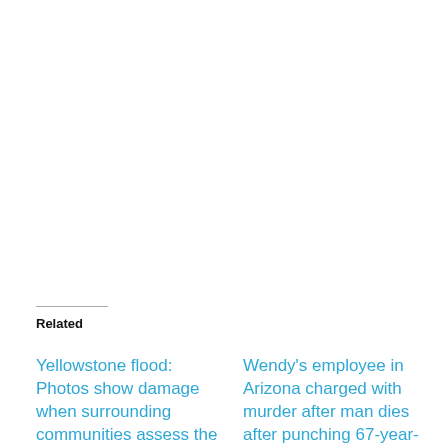Related
Yellowstone flood: Photos show damage when surrounding communities assess the
Wendy's employee in Arizona charged with murder after man dies after punching 67-year-